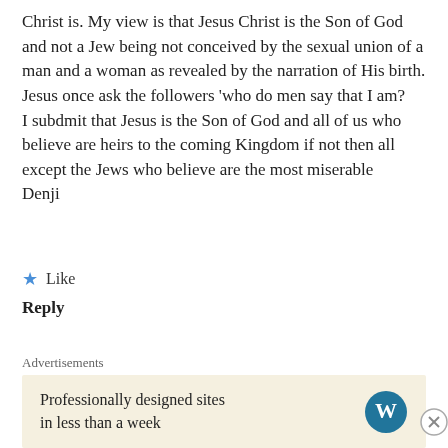Christ is. My view is that Jesus Christ is the Son of God and not a Jew being not conceived by the sexual union of a man and a woman as revealed by the narration of His birth. Jesus once ask the followers 'who do men say that I am?
I subdmit that Jesus is the Son of God and all of us who believe are heirs to the coming Kingdom if not then all except the Jews who believe are the most miserable
Denji
Like
Reply
Gbenga Olaifa
April 29, 2017
What an explosive, comprehensive, expository and informative article!
Advertisements
Professionally designed sites in less than a week